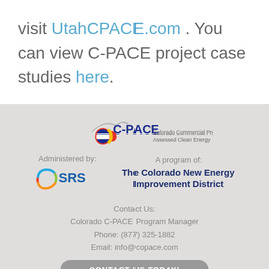visit UtahCPACE.com . You can view C-PACE project case studies here.
[Figure (logo): C-PACE Colorado Commercial Property Assessed Clean Energy logo with mountain graphic and circular Colorado flag icon]
Administered by:
[Figure (logo): OSRS logo - circular multicolor swoosh with SRS text in blue]
A program of: The Colorado New Energy Improvement District
Contact Us:
Colorado C-PACE Program Manager
Phone: (877) 325-1882
Email: info@copace.com
CONTACT US TODAY!
Copyright © 2022 Sustainable Real Estate Solutions, Inc.